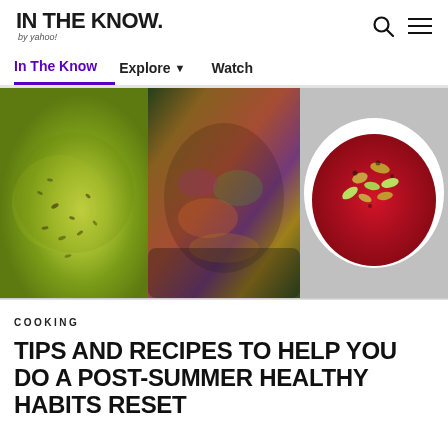IN THE KNOW. by yahoo!
[Figure (screenshot): Navigation bar with links: In The Know, Explore (with dropdown arrow), Watch]
[Figure (photo): Three food images side by side: green smoothie with chia seeds, colorful vegetable spring rolls with peanut sauce, red beet soup bowl with nuts and seeds on top]
COOKING
TIPS AND RECIPES TO HELP YOU DO A POST-SUMMER HEALTHY HABITS RESET